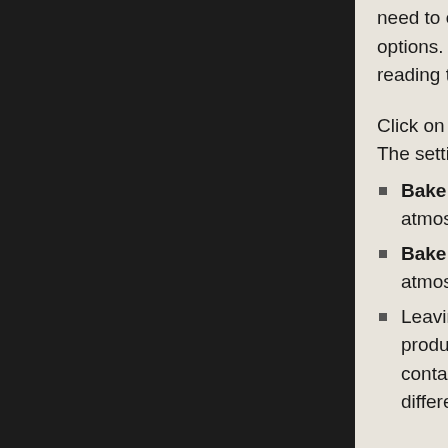need to create a .rlt file (RenderLight Template) containing various options. You can find out how to create a RenderLight Template by reading the RenderLight article.
Click on the "RenderLight Options >>" button to expand the option list. The settings are as follows:
Bake lighting - when checked, this option will bake the atmospheric sunlight into the MegaTexture.
Bake ambient - when checked, this option will bake the ambient atmospheric light into the MegaTexture.
Leaving both Bake lighting and Bake ambient un-checked will produce a 4-channel MegaTexture, which is larger size on disk but contains more accurate surface bump information, and requires a different material setup to the default settings found in